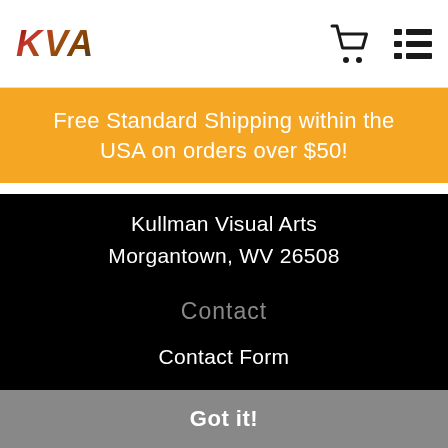KVA
Free Standard Shipping within the USA on orders over $50!
Kullman Visual Arts
Morgantown, WV 26508
Contact
Contact Form
Resources
This website uses cookies to ensure you get the best experience on our website.
Got it!